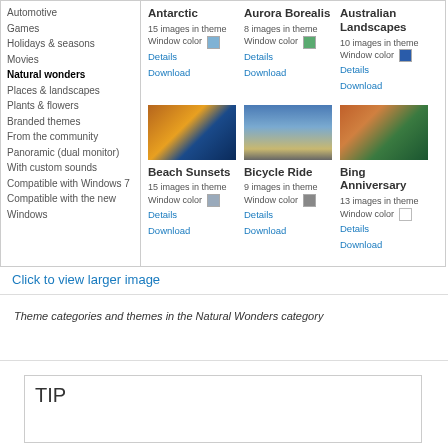Automotive
Games
Holidays & seasons
Movies
Natural wonders
Places & landscapes
Plants & flowers
Branded themes
From the community
Panoramic (dual monitor)
With custom sounds
Compatible with Windows 7
Compatible with the new Windows
[Figure (screenshot): Theme browser showing Antarctic, Aurora Borealis, Australian Landscapes, Beach Sunsets, Bicycle Ride, and Bing Anniversary themes with images and details/download links]
Click to view larger image
Theme categories and themes in the Natural Wonders category
TIP